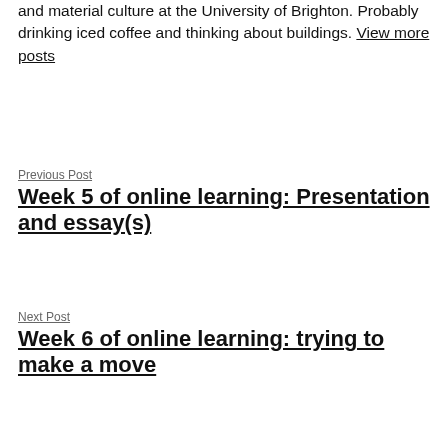and material culture at the University of Brighton. Probably drinking iced coffee and thinking about buildings. View more posts
Previous Post
Week 5 of online learning: Presentation and essay(s)
Next Post
Week 6 of online learning: trying to make a move